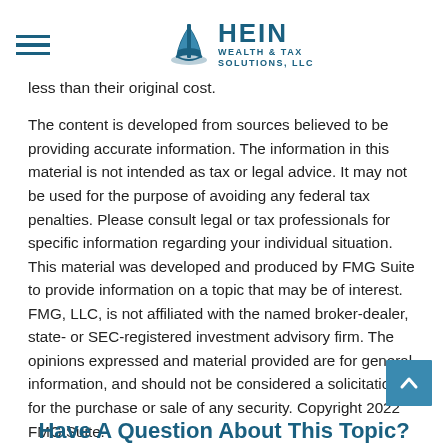Hein Wealth & Tax Solutions, LLC
less than their original cost.
The content is developed from sources believed to be providing accurate information. The information in this material is not intended as tax or legal advice. It may not be used for the purpose of avoiding any federal tax penalties. Please consult legal or tax professionals for specific information regarding your individual situation. This material was developed and produced by FMG Suite to provide information on a topic that may be of interest. FMG, LLC, is not affiliated with the named broker-dealer, state- or SEC-registered investment advisory firm. The opinions expressed and material provided are for general information, and should not be considered a solicitation for the purchase or sale of any security. Copyright 2022 FMG Suite.
Share |
Have A Question About This Topic?